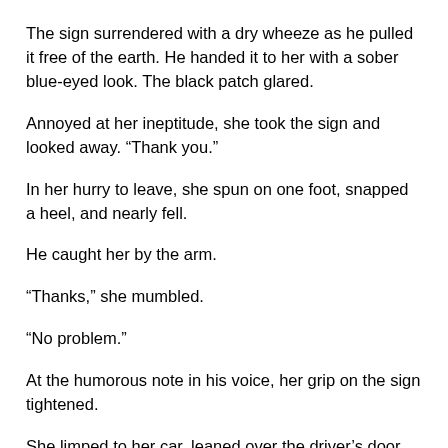The sign surrendered with a dry wheeze as he pulled it free of the earth. He handed it to her with a sober blue-eyed look. The black patch glared.
Annoyed at her ineptitude, she took the sign and looked away. “Thank you.”
In her hurry to leave, she spun on one foot, snapped a heel, and nearly fell.
He caught her by the arm.
“Thanks,” she mumbled.
“No problem.”
At the humorous note in his voice, her grip on the sign tightened.
She limped to her car, leaned over the driver’s door, and hit the trunk release. The sign fit in the back, and she took off